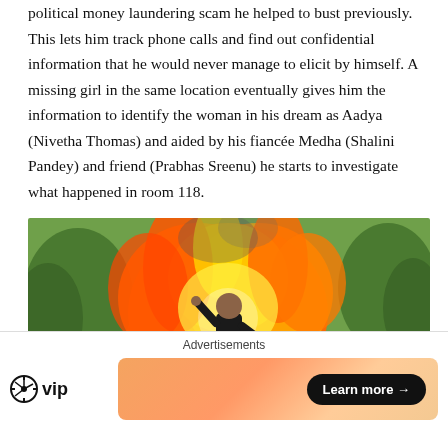political money laundering scam he helped to bust previously. This lets him track phone calls and find out confidential information that he would never manage to elicit by himself. A missing girl in the same location eventually gives him the information to identify the woman in his dream as Aadya (Nivetha Thomas) and aided by his fiancée Medha (Shalini Pandey) and friend (Prabhas Sreenu) he starts to investigate what happened in room 118.
[Figure (photo): Action movie scene showing a man in a black outfit running away from a large explosion with flames behind him, with green trees visible in the background and a road or wall structure in the scene.]
[Figure (other): Advertisement close button (X circle) overlaid on image]
Advertisements
[Figure (logo): WordPress VIP logo - WordPress circle icon followed by 'vip' text in bold]
[Figure (other): Advertisement banner with orange/peach gradient background and a 'Learn more →' button in black pill shape]